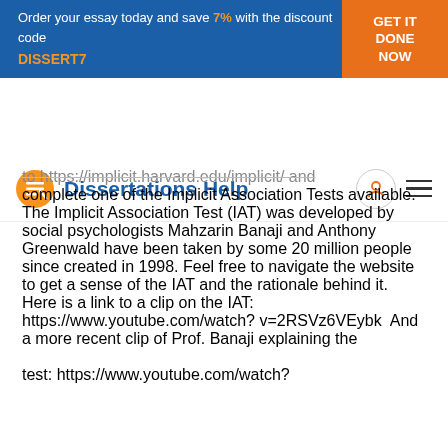Order your essay today and save 7% with the discount code DISSERT7 GET IT DONE NOW
[Figure (logo): Dissertations Help logo with orange icon and blue text]
to https://implicit.harvard.edu/implicit/ and complete one of the Implicit Association Tests available. The Implicit Association Test (IAT) was developed by social psychologists Mahzarin Banaji and Anthony Greenwald have been taken by some 20 million people since created in 1998. Feel free to navigate the website to get a sense of the IAT and the rationale behind it. Here is a link to a clip on the IAT: https://www.youtube.com/watch?v=2RSVz6VEybk  And a more recent clip of Prof. Banaji explaining the test: https://www.youtube.com/watch?